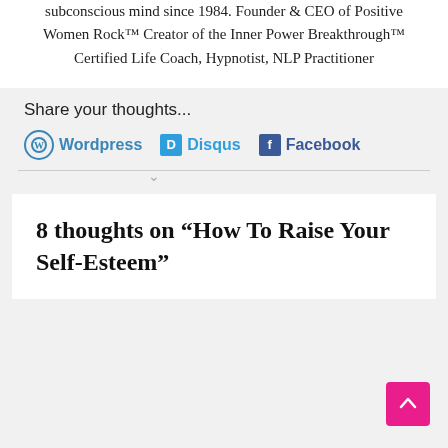subconscious mind since 1984. Founder & CEO of Positive Women Rock™ Creator of the Inner Power Breakthrough™ Certified Life Coach, Hypnotist, NLP Practitioner
Share your thoughts...
Wordpress   Disqus   Facebook
8 thoughts on “How To Raise Your Self-Esteem”